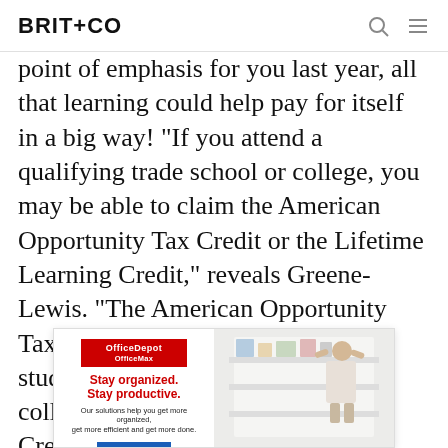BRIT+CO
point of emphasis for you last year, all that learning could help pay for itself in a big way! “If you attend a qualifying trade school or college, you may be able to claim the American Opportunity Tax Credit or the Lifetime Learning Credit,” reveals Greene-Lewis. “The American Opportunity Tax Credit is up to $2,500 credit per student in their first four years of college, and the Lifetime Learning Credit is worth up to $2,000 per tax return and can be taken whether you are consid... taking one cl... annot claim... the...
[Figure (screenshot): Advertisement overlay: Office Depot OfficeMax ad with red logo, headline 'Stay organized. Stay productive.' and body copy 'Our solutions help you get more organized, get more efficient and get more done.' with a blue 'Learn more' button on the left, and a photo of a woman organizing a white shelving unit on the right.]